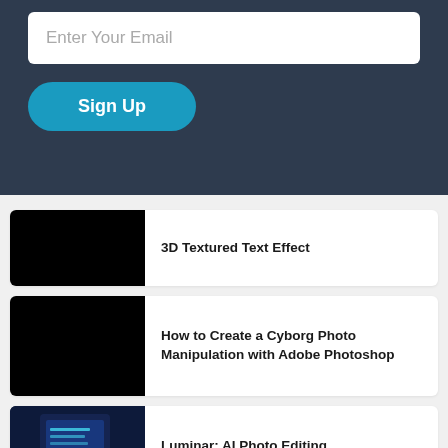[Figure (screenshot): Email input field with placeholder 'Enter Your Email' on dark background]
[Figure (screenshot): Sign Up button in blue rounded rectangle]
[Figure (screenshot): Article card with black thumbnail image and title '3D Textured Text Effect']
3D Textured Text Effect
[Figure (screenshot): Article card with black thumbnail image and title 'How to Create a Cyborg Photo Manipulation with Adobe Photoshop']
How to Create a Cyborg Photo Manipulation with Adobe Photoshop
[Figure (photo): Article card with dark photo showing a tablet with blue glowing screen, title 'Luminar: AI Photo Editing']
Luminar: AI Photo Editing